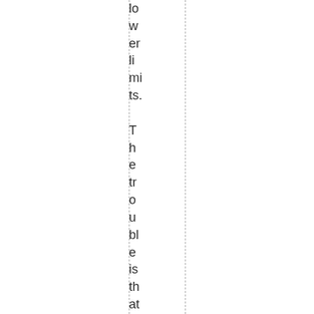lower limits.

The trouble is that the tightness the new w